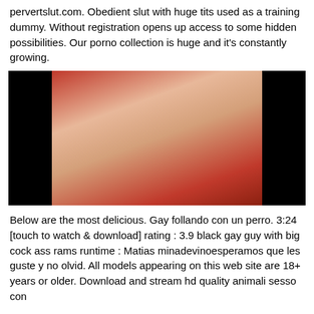pervertslut.com. Obedient slut with huge tits used as a training dummy. Without registration opens up access to some hidden possibilities. Our porno collection is huge and it's constantly growing.
[Figure (photo): Screenshot of an adult video thumbnail showing explicit content.]
Below are the most delicious. Gay follando con un perro. 3:24 [touch to watch & download] rating : 3.9 black gay guy with big cock ass rams runtime : Matias minadevinoesperamos que les guste y no olvid. All models appearing on this web site are 18+ years or older. Download and stream hd quality animali sesso con